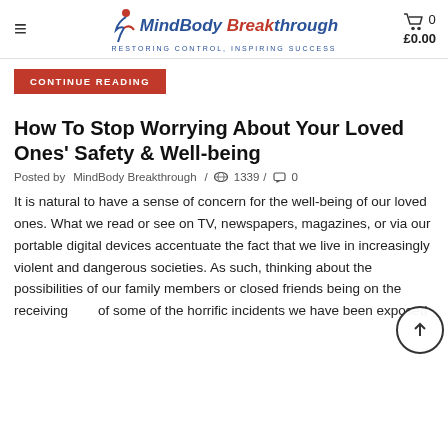MindBody Breakthrough — Restoring Control, Inspiring Success
CONTINUE READING
How To Stop Worrying About Your Loved Ones' Safety & Well-being
Posted by MindBody Breakthrough / 1339 / 0
It is natural to have a sense of concern for the well-being of our loved ones. What we read or see on TV, newspapers, magazines, or via our portable digital devices accentuate the fact that we live in increasingly violent and dangerous societies. As such, thinking about the possibilities of our family members or closed friends being on the receiving end of some of the horrific incidents we have been exposed to through media outlets tells increasingly close to home.